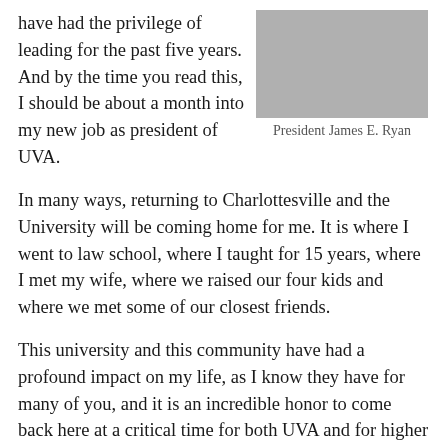have had the privilege of leading for the past five years. And by the time you read this, I should be about a month into my new job as president of UVA.
[Figure (photo): Photo of President James E. Ryan seated at a table with hands clasped]
President James E. Ryan
In many ways, returning to Charlottesville and the University will be coming home for me. It is where I went to law school, where I taught for 15 years, where I met my wife, where we raised our four kids and where we met some of our closest friends.
This university and this community have had a profound impact on my life, as I know they have for many of you, and it is an incredible honor to come back here at a critical time for both UVA and for higher education more broadly.